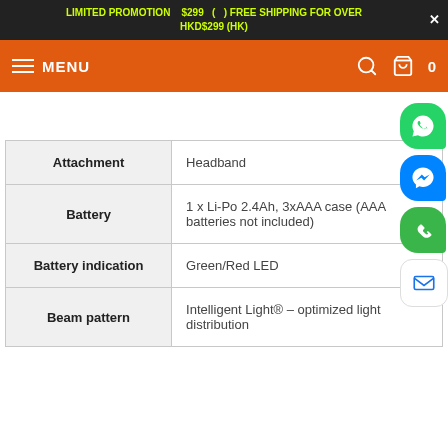LIMITED PROMOTION $299 ( ) FREE SHIPPING FOR OVER HKD$299 (HK)
MENU
| Attribute | Value |
| --- | --- |
| Attachment | Headband |
| Battery | 1 x Li-Po 2.4Ah, 3xAAA case (AAA batteries not included) |
| Battery indication | Green/Red LED |
| Beam pattern | Intelligent Light® – optimized light distribution |